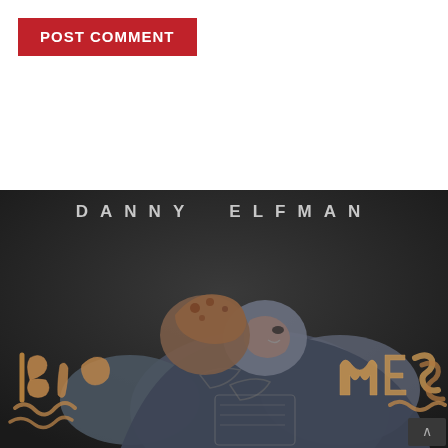[Figure (screenshot): Red button labeled POST COMMENT in white bold uppercase text on a red background, positioned in upper-left corner of a webpage]
[Figure (illustration): Album cover art for Danny Elfman's 'Big Mess'. Dark grey background with text 'DANNY ELFMAN' in spaced uppercase letters at top. A grotesque 3D sculptural figure of a tattooed muscular man holding a distorted, melting face/head to his face. Tentacle-like forms spell 'BIG' on the left and 'MESS' on the right in orange-brown color. Hyperrealistic horror aesthetic.]